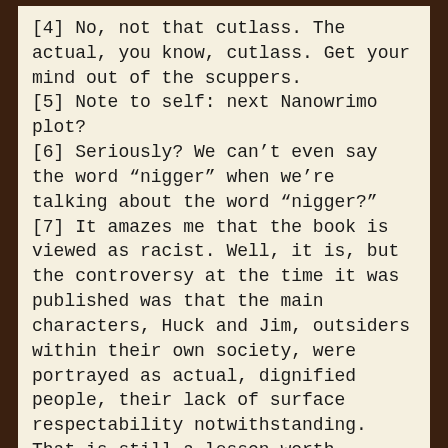[4] No, not that cutlass. The actual, you know, cutlass. Get your mind out of the scuppers.
[5] Note to self: next Nanowrimo plot?
[6] Seriously? We can't even say the word “nigger” when we’re talking about the word “nigger?”
[7] It amazes me that the book is viewed as racist. Well, it is, but the controversy at the time it was published was that the main characters, Huck and Jim, outsiders within their own society, were portrayed as actual, dignified people, their lack of surface respectability notwithstanding. That is still a lesson worth teaching.
Aspen  Junge
[Figure (photo): Avatar placeholder image showing a silhouette of a person with a gray background]